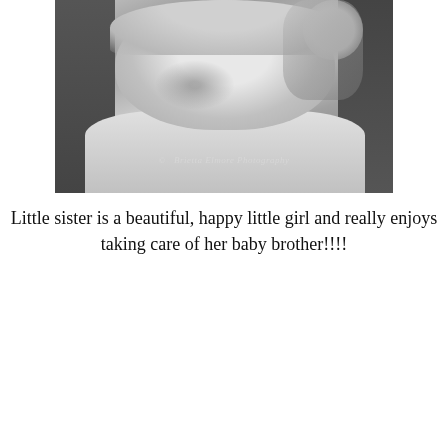[Figure (photo): Black and white photograph of a laughing toddler girl in a floral dress, holding what appears to be a baby. A watermark reads '© Brietta Elmore Photography'.]
Little sister is a beautiful, happy little girl and really enjoys taking care of her baby brother!!!!